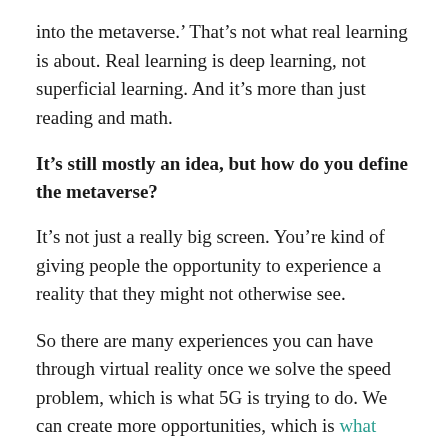into the metaverse.' That's not what real learning is about. Real learning is deep learning, not superficial learning. And it's more than just reading and math.
It's still mostly an idea, but how do you define the metaverse?
It's not just a really big screen. You're kind of giving people the opportunity to experience a reality that they might not otherwise see.
So there are many experiences you can have through virtual reality once we solve the speed problem, which is what 5G is trying to do. We can create more opportunities, which is what Web3 is trying to do. [And we can] create technological advances that allow this to be as is easy to use and